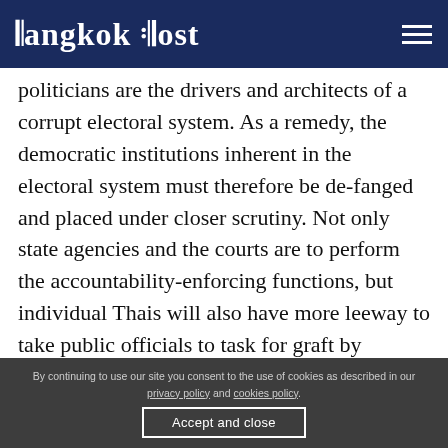Bangkok Post
politicians are the drivers and architects of a corrupt electoral system. As a remedy, the democratic institutions inherent in the electoral system must therefore be de-fanged and placed under closer scrutiny. Not only state agencies and the courts are to perform the accountability-enforcing functions, but individual Thais will also have more leeway to take public officials to task for graft by collecting signatures for impeachment motions.
By continuing to use our site you consent to the use of cookies as described in our privacy policy and cookies policy.
Accept and close